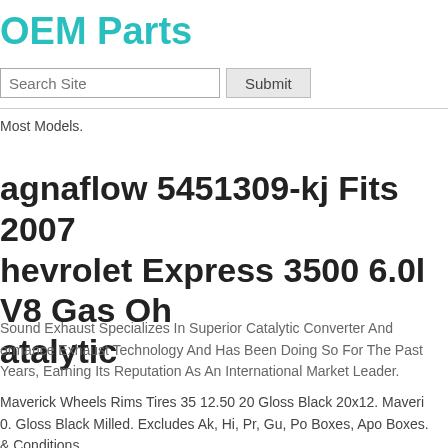OEM Parts
[Figure (other): Search bar with text field labeled 'Search Site' and a Submit button]
Most Models.
Magnaflow 5451309-kj Fits 2007 Chevrolet Express 3500 6.0l V8 Gas Oh... Catalytic
Sound Exhaust Specializes In Superior Catalytic Converter And ormance Exhaust Technology And Has Been Doing So For The Past Years, Earning Its Reputation As An International Market Leader.
Maverick Wheels Rims Tires 35 12.50 20 Gloss Black 20x12. Maveri... 0. Gloss Black Milled. Excludes Ak, Hi, Pr, Gu, Po Boxes, Apo Boxes. & Conditions.